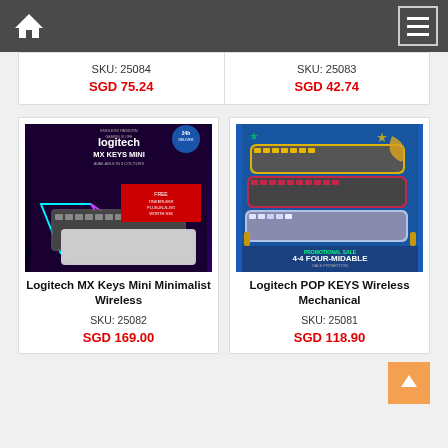Navigation bar with home icon and menu icon
SKU: 25084
SGD 75.24
SKU: 25083
SGD 42.74
[Figure (photo): Logitech MX Keys Mini Minimalist Wireless keyboard product image with dark background and colorful neon lights]
Logitech MX Keys Mini Minimalist Wireless
SKU: 25082
SGD 169.00
[Figure (photo): Logitech POP KEYS Wireless Mechanical keyboard in multiple colors (yellow, red, purple, white) with festive background]
Logitech POP KEYS Wireless Mechanical
SKU: 25081
SGD 118.90